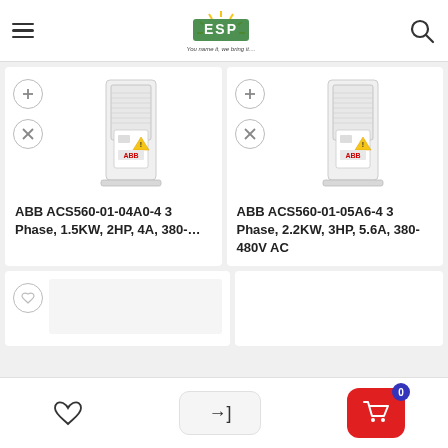ESP - Every Spare Parts - You name it, we bring it...
[Figure (photo): ABB ACS560-01-04A0-4 variable frequency drive unit, white casing]
ABB ACS560-01-04A0-4 3 Phase, 1.5KW, 2HP, 4A, 380-...
[Figure (photo): ABB ACS560-01-05A6-4 variable frequency drive unit, white casing]
ABB ACS560-01-05A6-4 3 Phase, 2.2KW, 3HP, 5.6A, 380-480V AC
Heart / Login / Cart (0)